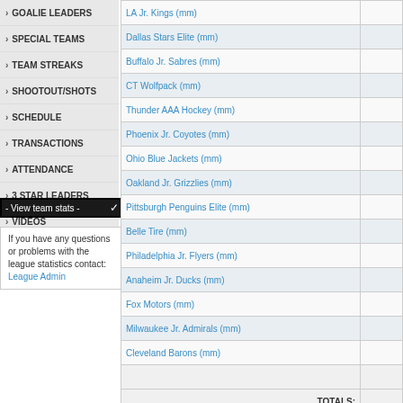GOALIE LEADERS
SPECIAL TEAMS
TEAM STREAKS
SHOOTOUT/SHOTS
SCHEDULE
TRANSACTIONS
ATTENDANCE
3 STAR LEADERS
VIDEOS
TEXT STATS
- View team stats -
If you have any questions or problems with the league statistics contact: League Admin
| Team |  |
| --- | --- |
| LA Jr. Kings (mm) |  |
| Dallas Stars Elite (mm) |  |
| Buffalo Jr. Sabres (mm) |  |
| CT Wolfpack (mm) |  |
| Thunder AAA Hockey (mm) |  |
| Phoenix Jr. Coyotes (mm) |  |
| Ohio Blue Jackets (mm) |  |
| Oakland Jr. Grizzlies (mm) |  |
| Pittsburgh Penguins Elite (mm) |  |
| Belle Tire (mm) |  |
| Philadelphia Jr. Flyers (mm) |  |
| Anaheim Jr. Ducks (mm) |  |
| Fox Motors (mm) |  |
| Milwaukee Jr. Admirals (mm) |  |
| Cleveland Barons (mm) |  |
|  |  |
| TOTALS: |  |